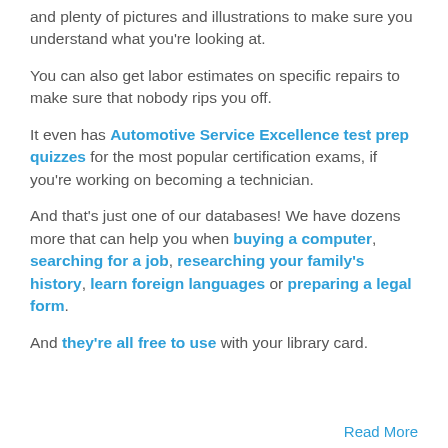and plenty of pictures and illustrations to make sure you understand what you're looking at.
You can also get labor estimates on specific repairs to make sure that nobody rips you off.
It even has Automotive Service Excellence test prep quizzes for the most popular certification exams, if you're working on becoming a technician.
And that's just one of our databases! We have dozens more that can help you when buying a computer, searching for a job, researching your family's history, learn foreign languages or preparing a legal form.
And they're all free to use with your library card.
Read More